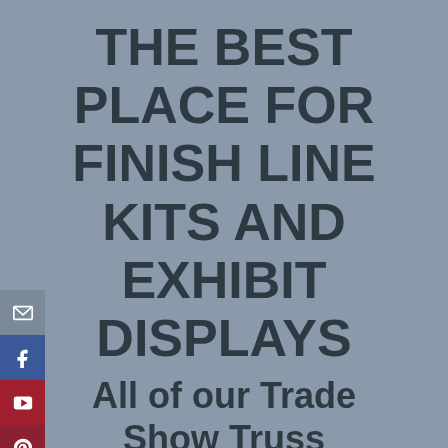THE BEST PLACE FOR FINISH LINE KITS AND EXHIBIT DISPLAYS
All of our Trade Show Truss Systems are fabricated with the best materials and professionally crafted to
[Figure (other): Social media sidebar icons: email (envelope), Facebook, YouTube, Pinterest]